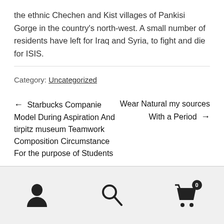the ethnic Chechen and Kist villages of Pankisi Gorge in the country's north-west. A small number of residents have left for Iraq and Syria, to fight and die for ISIS.
Category: Uncategorized
← Starbucks Companie Model During Aspiration And tirpitz museum Teamwork Composition Circumstance For the purpose of Students
Wear Natural my sources With a Period →
[Figure (infographic): Footer navigation bar with person icon, search icon, and shopping cart icon with badge showing 0]